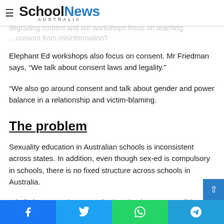SchoolNews AUSTRALIA
degrading content and our workshops focus on teaching … consent from misinformation?
Elephant Ed workshops also focus on consent. Mr Friedman says, “We talk about consent laws and legality.”
“We also go around consent and talk about gender and power balance in a relationship and victim-blaming.
The problem
Sexuality education in Australian schools is inconsistent across states. In addition, even though sex-ed is compulsory in schools, there is no fixed structure across schools in Australia.
A holistic approach to sexual education is not accessible to
Facebook | Twitter | WhatsApp | Telegram